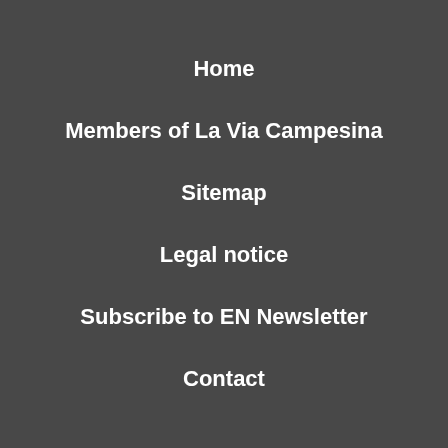Home
Members of La Via Campesina
Sitemap
Legal notice
Subscribe to EN Newsletter
Contact